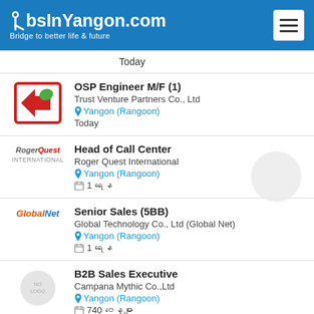JobsInYangon.com — Bridge to better life & future
Today
OSP Engineer M/F (1) — Trust Venture Partners Co., Ltd — Yangon (Rangoon) — Today
Head of Call Center — Roger Quest International — Yangon (Rangoon) — 1 ရနေ
Senior Sales (5BB) — Global Technology Co., Ltd (Global Net) — Yangon (Rangoon) — 1 ရနေ
B2B Sales Executive — Campana Mythic Co.,Ltd — Yangon (Rangoon) — 740 ဝနေ့များ
Project Sales Assistant